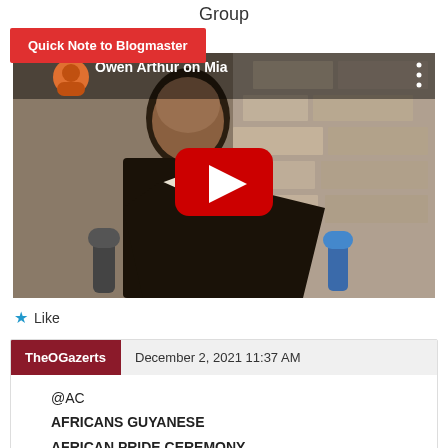Group
Quick Note to Blogmaster
[Figure (screenshot): YouTube video thumbnail showing a man in a dark suit being interviewed, with the title 'Owen Arthur on Mia' and a red YouTube play button overlay]
Like
TheOGazerts   December 2, 2021 11:37 AM
@AC
AFRICANS GUYANESE
AFRICAN PRIDE CEREMONY